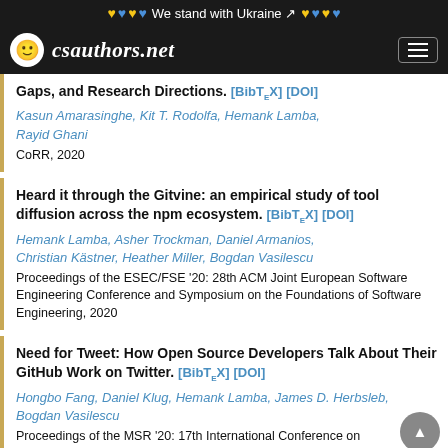We stand with Ukraine
csauthors.net
Gaps, and Research Directions. [BibTeX] [DOI]
Kasun Amarasinghe, Kit T. Rodolfa, Hemank Lamba, Rayid Ghani
CoRR, 2020
Heard it through the Gitvine: an empirical study of tool diffusion across the npm ecosystem. [BibTeX] [DOI]
Hemank Lamba, Asher Trockman, Daniel Armanios, Christian Kästner, Heather Miller, Bogdan Vasilescu
Proceedings of the ESEC/FSE '20: 28th ACM Joint European Software Engineering Conference and Symposium on the Foundations of Software Engineering, 2020
Need for Tweet: How Open Source Developers Talk About Their GitHub Work on Twitter. [BibTeX] [DOI]
Hongbo Fang, Daniel Klug, Hemank Lamba, James D. Herbsleb, Bogdan Vasilescu
Proceedings of the MSR '20: 17th International Conference on